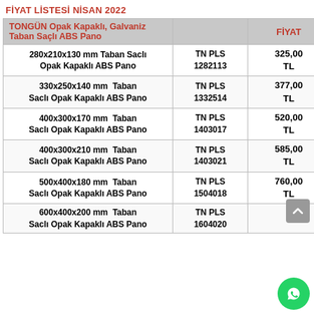FİYAT LİSTESİ NİSAN 2022
| TONGÜN Opak Kapaklı, Galvaniz Taban Saçlı ABS Pano |  | FİYAT |
| --- | --- | --- |
| 280x210x130 mm Taban Saclı Opak Kapaklı ABS Pano | TN PLS 1282113 | 325,00 TL |
| 330x250x140 mm  Taban Saclı Opak Kapaklı ABS Pano | TN PLS 1332514 | 377,00 TL |
| 400x300x170 mm  Taban Saclı Opak Kapaklı ABS Pano | TN PLS 1403017 | 520,00 TL |
| 400x300x210 mm  Taban Saclı Opak Kapaklı ABS Pano | TN PLS 1403021 | 585,00 TL |
| 500x400x180 mm  Taban Saclı Opak Kapaklı ABS Pano | TN PLS 1504018 | 760,00 TL |
| 600x400x200 mm  Taban Saclı Opak Kapaklı ABS Pano | TN PLS 1604020 |  |